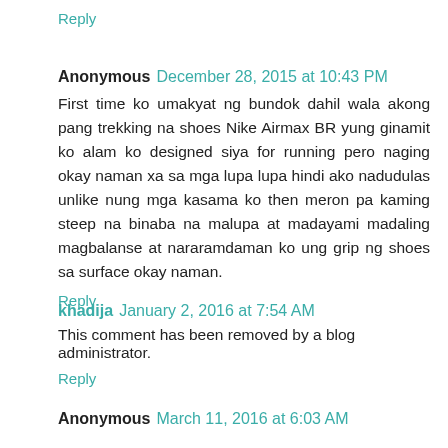Reply
Anonymous December 28, 2015 at 10:43 PM
First time ko umakyat ng bundok dahil wala akong pang trekking na shoes Nike Airmax BR yung ginamit ko alam ko designed siya for running pero naging okay naman xa sa mga lupa lupa hindi ako nadudulas unlike nung mga kasama ko then meron pa kaming steep na binaba na malupa at madayami madaling magbalanse at nararamdaman ko ung grip ng shoes sa surface okay naman.
Reply
khadija January 2, 2016 at 7:54 AM
This comment has been removed by a blog administrator.
Reply
Anonymous March 11, 2016 at 6:03 AM